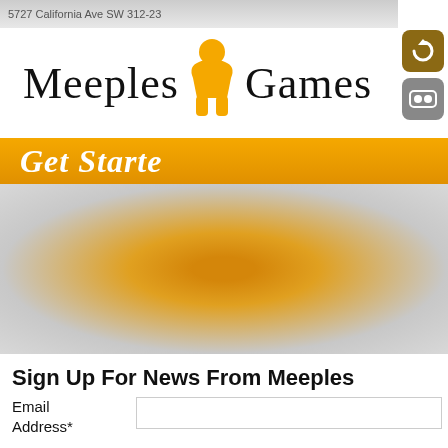5727 California Ave SW 312-23
[Figure (screenshot): Meeples Games logo with orange meeple figure between 'Meeples' and 'Games' text]
[Figure (screenshot): Get Started orange banner button]
[Figure (screenshot): 360 viewer area with orange radial glow background, contact icon, up arrow button, and 'Powered by Unite 360 Media' text]
Sign Up For News From Meeples
Email Address*